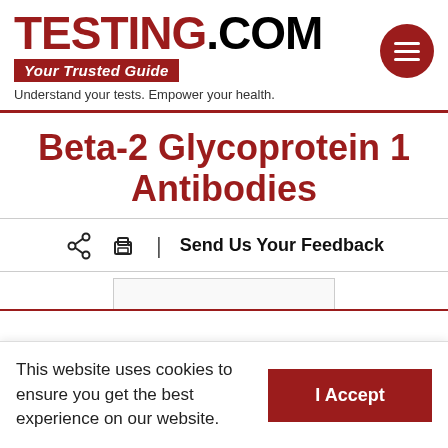TESTING.COM – Your Trusted Guide – Understand your tests. Empower your health.
Beta-2 Glycoprotein 1 Antibodies
Send Us Your Feedback
This website uses cookies to ensure you get the best experience on our website.